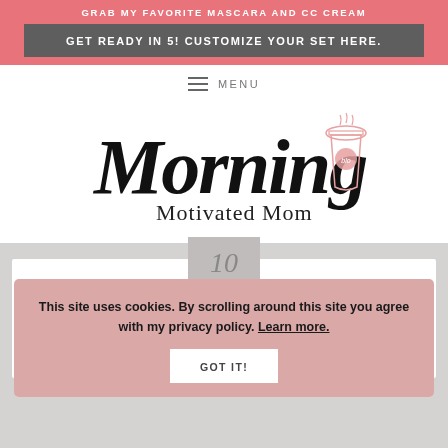GRAB MY FAVORITE MASCARA AND CC CREAM
GET READY IN 5! CUSTOMIZE YOUR SET HERE.
≡  MENU
[Figure (logo): Morning Motivated Mom logo with script 'Morning' text and coffee cup illustration]
10
This site uses cookies. By scrolling around this site you agree with my privacy policy. Learn more.
GOT IT!
For Your Reading Pleasure...
Links & Books #4